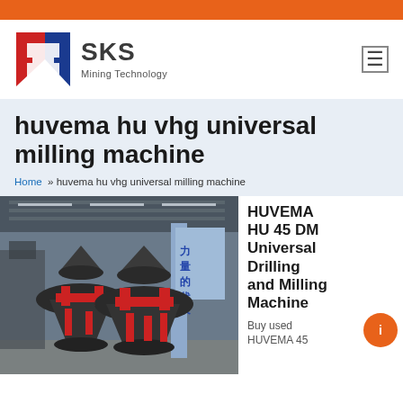SKS Mining Technology
huvema hu vhg universal milling machine
Home » huvema hu vhg universal milling machine
[Figure (photo): Industrial factory floor with large dark grey cone crusher machines with red accents, a Chinese sign visible in the background]
HUVEMA HU 45 DM Universal Drilling and Milling Machine
Buy used HUVEMA 45 DM Universal